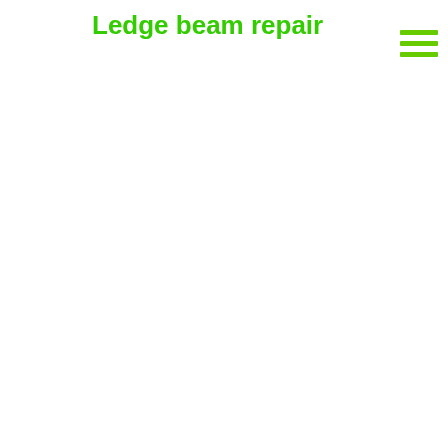Ledge beam repair
[Figure (other): Hamburger menu icon with three horizontal green lines in top-right area]